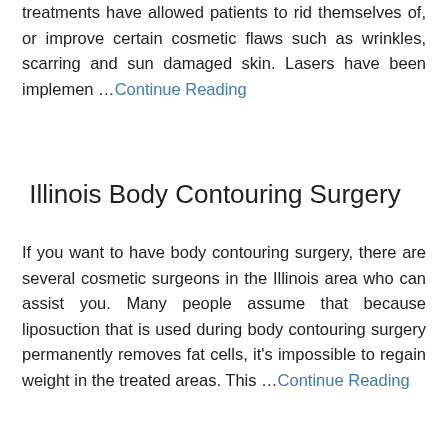treatments have allowed patients to rid themselves of, or improve certain cosmetic flaws such as wrinkles, scarring and sun damaged skin. Lasers have been implemen …Continue Reading
Illinois Body Contouring Surgery
If you want to have body contouring surgery, there are several cosmetic surgeons in the Illinois area who can assist you. Many people assume that because liposuction that is used during body contouring surgery permanently removes fat cells, it's impossible to regain weight in the treated areas. This …Continue Reading